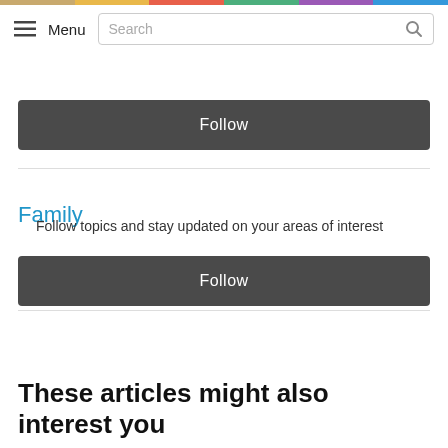Menu | Search
Follow
Family
Follow topics and stay updated on your areas of interest
Follow
These articles might also interest you